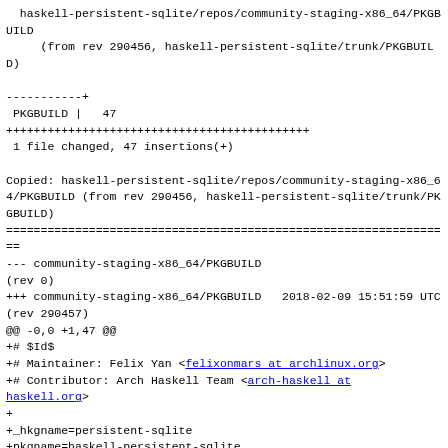haskell-persistent-sqlite/repos/community-staging-x86_64/PKGBUILD
     (from rev 290456, haskell-persistent-sqlite/trunk/PKGBUILD)

-----------+
 PKGBUILD |   47
++++++++++++++++++++++++++++++++++++++++++++
 1 file changed, 47 insertions(+)

Copied: haskell-persistent-sqlite/repos/community-staging-x86_64/PKGBUILD (from rev 290456, haskell-persistent-sqlite/trunk/PKGBUILD)
=================================================================
--- community-staging-x86_64/PKGBUILD
(rev 0)
+++ community-staging-x86_64/PKGBUILD   2018-02-09 15:51:59 UTC (rev 290457)
@@ -0,0 +1,47 @@
+# $Id$
+# Maintainer: Felix Yan <felixonmars at archlinux.org>
+# Contributor: Arch Haskell Team <arch-haskell at haskell.org>
+
+_hkgname=persistent-sqlite
+pkgname=haskell-persistent-sqlite
+pkgver=2.6.4
+pkgrel=30
+pkgdesc="Backend for the persistent library using sqlite3"